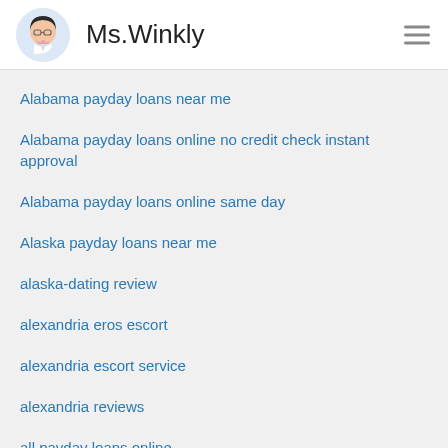Ms.Winkly
Alabama payday loans near me
Alabama payday loans online no credit check instant approval
Alabama payday loans online same day
Alaska payday loans near me
alaska-dating review
alexandria eros escort
alexandria escort service
alexandria reviews
all payday loans online
allamericandating.com adult dating
Alt app simili
alt visitors